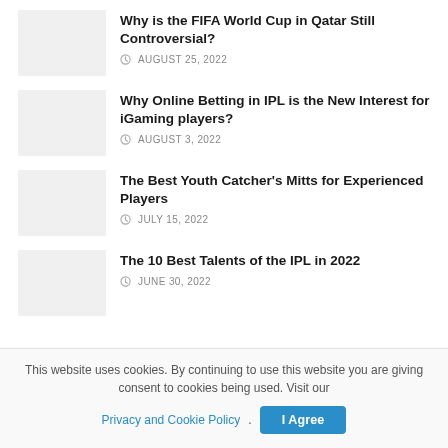Why is the FIFA World Cup in Qatar Still Controversial? — AUGUST 25, 2022
Why Online Betting in IPL is the New Interest for iGaming players? — AUGUST 3, 2022
The Best Youth Catcher's Mitts for Experienced Players — JULY 15, 2022
The 10 Best Talents of the IPL in 2022 — JUNE 30, 2022
This website uses cookies. By continuing to use this website you are giving consent to cookies being used. Visit our Privacy and Cookie Policy. I Agree